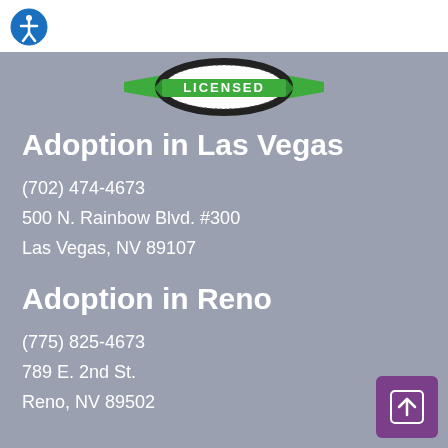[Figure (logo): Accessibility icon — white stick figure in blue circle]
[Figure (logo): Green and black 'LICENSED' badge/stamp logo]
Adoption in Las Vegas
(702) 474-4673
500 N. Rainbow Blvd. #300
Las Vegas, NV 89107
Adoption in Reno
(775) 825-4673
789 E. 2nd St.
Reno, NV 89502
[Figure (illustration): Purple back-to-top button with upward arrow icon]